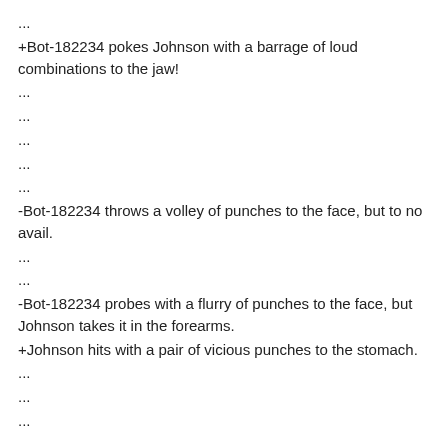...
+Bot-182234 pokes Johnson with a barrage of loud combinations to the jaw!
...
...
...
...
...
-Bot-182234 throws a volley of punches to the face, but to no avail.
...
...
-Bot-182234 probes with a flurry of punches to the face, but Johnson takes it in the forearms.
+Johnson hits with a pair of vicious punches to the stomach.
...
...
...